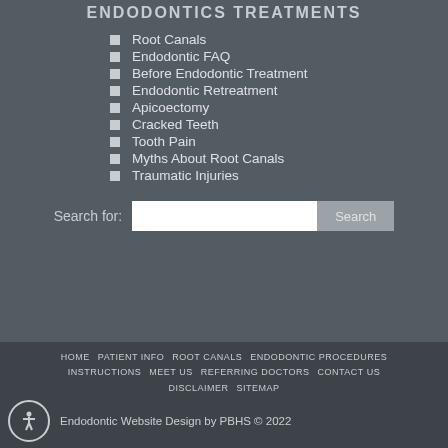ENDODONTICS TREATMENTS
Root Canals
Endodontic FAQ
Before Endodontic Treatment
Endodontic Retreatment
Apicoectomy
Cracked Teeth
Tooth Pain
Myths About Root Canals
Traumatic Injuries
Search for: [input] Search
HOME  PATIENT INFO  ROOT CANALS  ENDODONTIC PROCEDURES  INSTRUCTIONS  MEET US  REFERRING DOCTORS  CONTACT US  DISCLAIMER  SITEMAP  Endodontic Website Design by PBHS © 2022